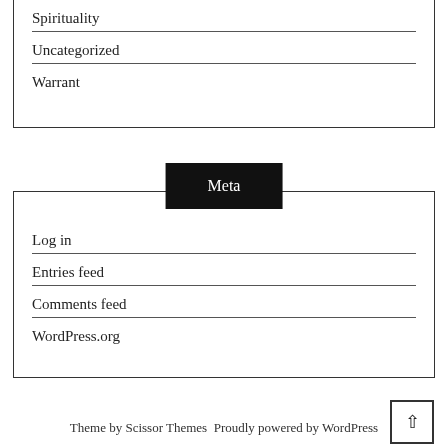Spirituality
Uncategorized
Warrant
Meta
Log in
Entries feed
Comments feed
WordPress.org
Theme by Scissor Themes Proudly powered by WordPress